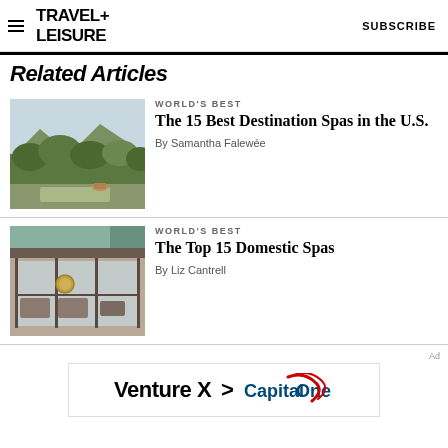TRAVEL+ LEISURE   SUBSCRIBE
Related Articles
[Figure (photo): Outdoor spa landscape with trees and mountains in background]
WORLD'S BEST
The 15 Best Destination Spas in the U.S.
By Samantha Falewée
[Figure (photo): Modern spa building facade with glass walls and gong visible inside]
WORLD'S BEST
The Top 15 Domestic Spas
By Liz Cantrell
Ad
[Figure (logo): Capital One Venture X advertisement banner with arrow]